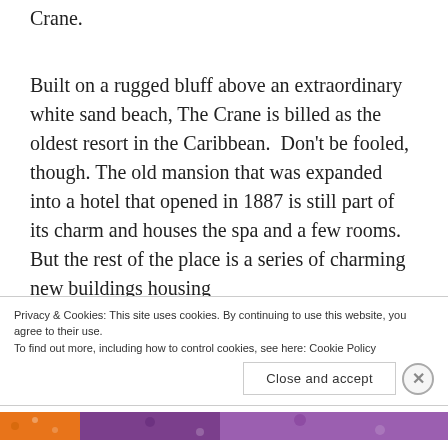Crane.
Built on a rugged bluff above an extraordinary white sand beach, The Crane is billed as the oldest resort in the Caribbean.  Don't be fooled, though.  The old mansion that was expanded into a hotel that opened in 1887 is still part of its charm and houses the spa and a few rooms.  But the rest of the place is a series of charming new buildings housing
Privacy & Cookies: This site uses cookies. By continuing to use this website, you agree to their use.
To find out more, including how to control cookies, see here: Cookie Policy
Close and accept